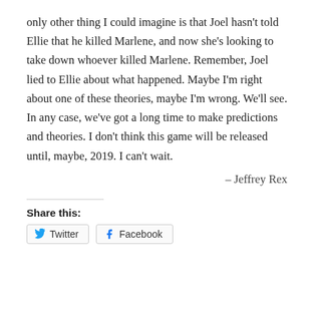only other thing I could imagine is that Joel hasn't told Ellie that he killed Marlene, and now she's looking to take down whoever killed Marlene. Remember, Joel lied to Ellie about what happened. Maybe I'm right about one of these theories, maybe I'm wrong. We'll see. In any case, we've got a long time to make predictions and theories. I don't think this game will be released until, maybe, 2019. I can't wait.
– Jeffrey Rex
Share this:
Twitter   Facebook